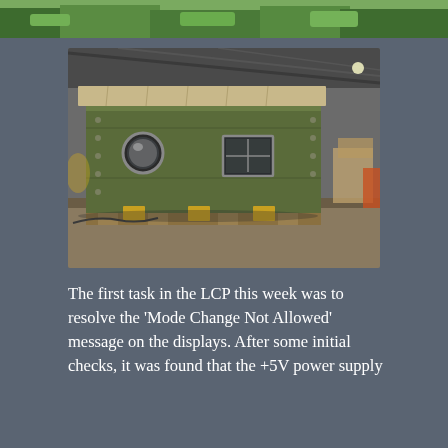[Figure (photo): Partial top strip showing green foliage/grass outdoor scene, cropped at top of page]
[Figure (photo): Military green shelter or equipment shelter (LCP - Local Control Post) inside a large warehouse/hangar. The rectangular olive-green metal container with a canvas/tarp cover on top sits on wooden pallets and yellow blocks. It has a circular porthole window and a rectangular window on the side visible.]
The first task in the LCP this week was to resolve the ‘Mode Change Not Allowed’ message on the displays. After some initial checks, it was found that the +5V power supply